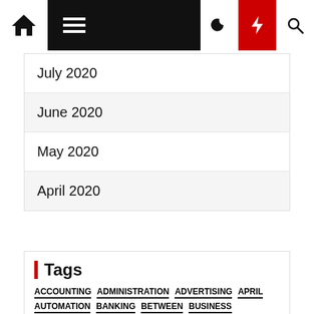Navigation bar with home, menu, dark mode, lightning/flash, and search icons
July 2020
June 2020
May 2020
April 2020
Tags
ACCOUNTING ADMINISTRATION ADVERTISING APRIL AUTOMATION BANKING BETWEEN BUSINESS COMPANY CONSULTING CREATE CURATED DEFINITION DEVELOPMENT EARLY ENTRY EVENT FINANCIAL FUNDRAISING